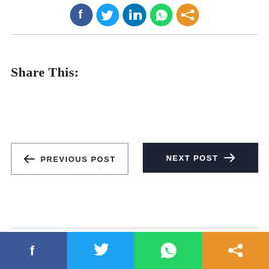[Figure (infographic): Row of 5 circular social media share buttons: Facebook (blue), Twitter (light blue), LinkedIn (blue), WhatsApp (green), Share (orange/gradient)]
Share This:
← PREVIOUS POST
NEXT POST →
[Figure (infographic): Bottom social sharing bar with 4 sections: Facebook (dark blue), Twitter (light blue), WhatsApp (green), Share (orange), each with icon]